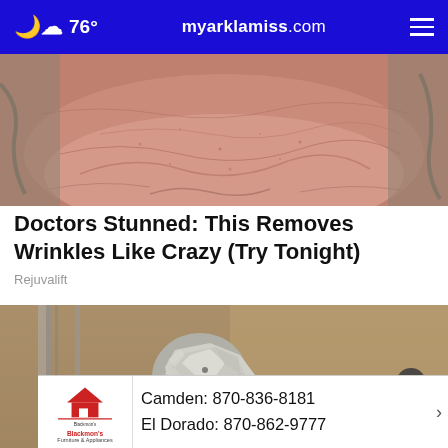76° myarklamiss.com
[Figure (photo): Close-up photo of wrinkled skin (forehead or chin area), showing textured pink/red skin with deep wrinkle lines]
Doctors Stunned: This Removes Wrinkles Like Crazy (Try Tonight)
Rejuvalift
[Figure (photo): Photo of a door knob wrapped in aluminum foil, set against a wooden door background with vertical metal door frame]
[Figure (photo): Advertisement banner for Blackmon's Furniture & Appliances showing contact numbers: Camden: 870-836-8181 and El Dorado: 870-862-9777]